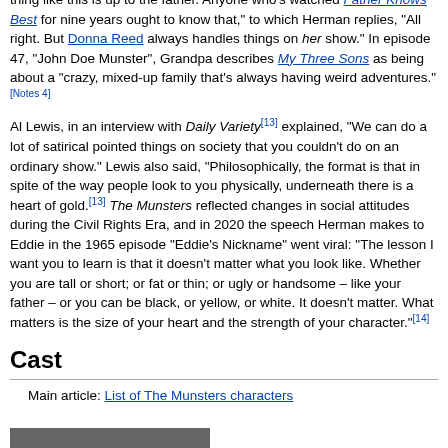thing like this is up to the father. Anyone who's watched Father Knows Best for nine years ought to know that," to which Herman replies, "All right. But Donna Reed always handles things on her show." In episode 47, "John Doe Munster", Grandpa describes My Three Sons as being about a "crazy, mixed-up family that's always having weird adventures."[Notes 4]
Al Lewis, in an interview with Daily Variety[13] explained, "We can do a lot of satirical pointed things on society that you couldn't do on an ordinary show." Lewis also said, "Philosophically, the format is that in spite of the way people look to you physically, underneath there is a heart of gold.[13] The Munsters reflected changes in social attitudes during the Civil Rights Era, and in 2020 the speech Herman makes to Eddie in the 1965 episode "Eddie's Nickname" went viral: "The lesson I want you to learn is that it doesn't matter what you look like. Whether you are tall or short; or fat or thin; or ugly or handsome – like your father – or you can be black, or yellow, or white. It doesn't matter. What matters is the size of your heart and the strength of your character."[14]
Cast
Main article: List of The Munsters characters
[Figure (photo): Bottom portion of a photograph, partially visible at the bottom of the page]